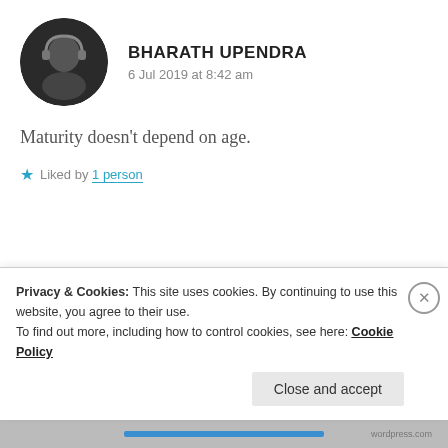[Figure (photo): Circular avatar photo of Bharath Upendra, black and white, person with headphones]
BHARATH UPENDRA
6 Jul 2019 at 8:42 am
Maturity doesn’t depend on age.
★ Liked by 1 person
[Figure (photo): Circular avatar photo of Zealous Homo Sapiens, reddish-brown tones, person with dark hair]
ZEALOUS HOMO SAPIENS
6 Jul 2019 at 10:48 am
Privacy & Cookies: This site uses cookies. By continuing to use this website, you agree to their use.
To find out more, including how to control cookies, see here: Cookie Policy
Close and accept